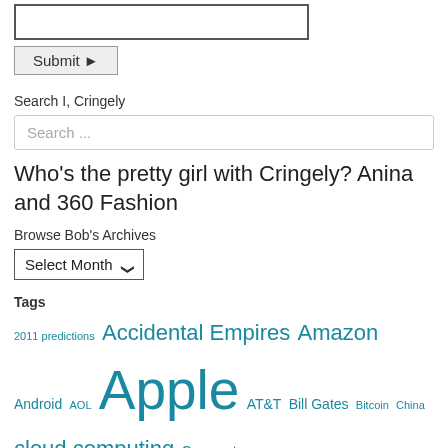[Figure (other): Email input text field (empty)]
[Figure (other): Submit button with right-arrow]
Search I, Cringely
[Figure (other): Search input field with placeholder 'Search ...']
Who's the pretty girl with Cringely? Anina and 360 Fashion
Browse Bob's Archives
[Figure (other): Select Month dropdown]
Tags
2011 predictions Accidental Empires Amazon Android AOL Apple AT&T Bill Gates Bitcoin China cloud computing Comcast computer history COVID-19 cringely Cringely Startup Tour data security facebook FCC financial crisis Ginni Rometty Google IBM